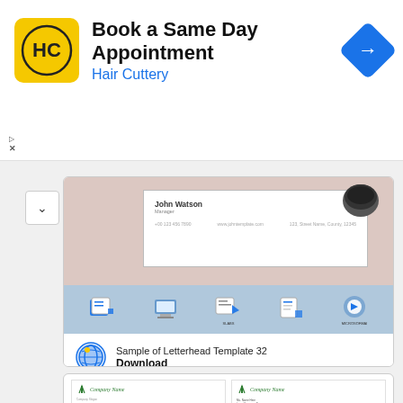[Figure (screenshot): Advertisement banner for Hair Cuttery 'Book a Same Day Appointment' with HC logo, navigation arrow icon, and ad indicators]
[Figure (screenshot): Letterhead template preview card showing business card design, icon strip with document category icons, and download info row with Sample of Letterhead Template 32]
[Figure (screenshot): Lower section showing two letterhead template previews side by side with Company Name logos and body text]